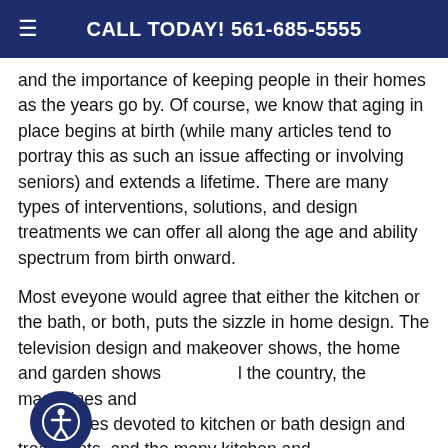≡  CALL TODAY! 561-685-5555
and the importance of keeping people in their homes as the years go by. Of course, we know that aging in place begins at birth (while many articles tend to portray this as such an issue affecting or involving seniors) and extends a lifetime. There are many types of interventions, solutions, and design treatments we can offer all along the age and ability spectrum from birth onward.
Most eveyone would agree that either the kitchen or the bath, or both, puts the sizzle in home design. The television design and makeover shows, the home and garden shows all the country, the magazines and issues devoted to kitchen or bath design and treatments, and the many kitchen and